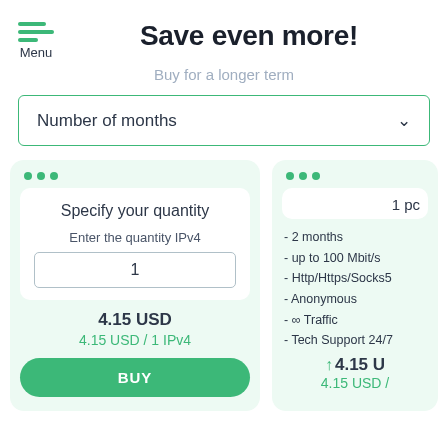Menu
Save even more!
Buy for a longer term
Number of months
Specify your quantity
Enter the quantity IPv4
1
4.15 USD
4.15 USD / 1 IPv4
BUY
1 pc
- 2 months
- up to 100 Mbit/s
- Http/Https/Socks5
- Anonymous
- ∞ Traffic
- Tech Support 24/7
4.15 U
4.15 USD /